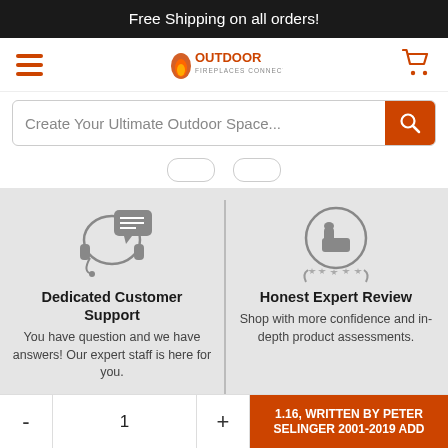Free Shipping on all orders!
[Figure (logo): Outdoor Fireplaces Connection logo with flame icon]
Create Your Ultimate Outdoor Space...
[Figure (illustration): Headset with speech bubble icon representing customer support]
Dedicated Customer Support
You have question and we have answers! Our expert staff is here for you.
[Figure (illustration): Thumbs up badge with stars icon representing honest expert review]
Honest Expert Review
Shop with more confidence and in-depth product assessments.
- 1 + 1.16, WRITTEN BY PETER SELINGER 2001-2019 ADD